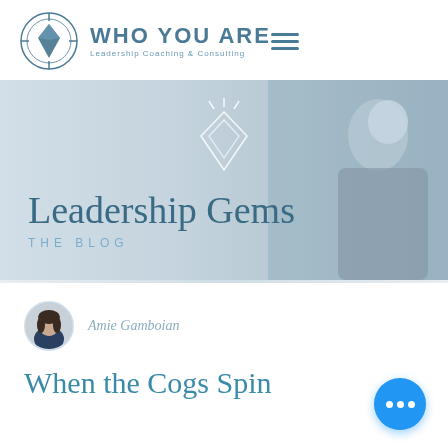[Figure (logo): Who You Are Leadership Coaching & Consulting logo with compass/diamond icon and text]
[Figure (photo): Hero banner image showing 'Leadership Gems THE BLOG' with diamond gem icon overlay and background photo of a woman smiling]
[Figure (photo): Circular avatar photo of Amie Gamboian]
Amie Gamboian
When the Cogs Spin